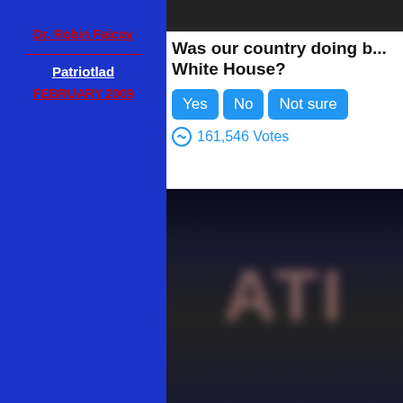Dr. Robin Falcov
Patriotlad
FEBRUARY 2009
[Figure (photo): Top portion of a photo, dark background, appears to be a person]
Was our country doing b... White House?
Yes  No  Not sure
161,546 Votes
[Figure (photo): Blurred photo showing large letters ATI on dark background]